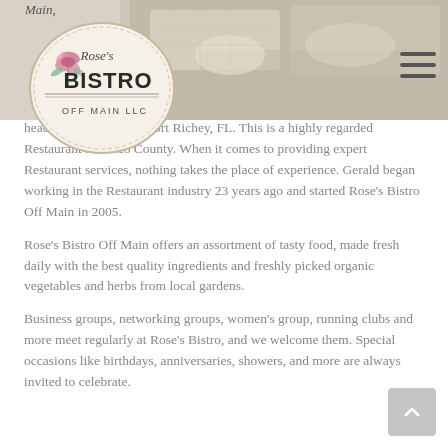[Figure (photo): Top banner photo showing food/catering table setting with white tablecloth and dishes]
[Figure (logo): Rose's Bistro Off Main LLC logo — oval shape with rose illustration, text 'Rose's BISTRO OFF MAIN LLC']
Main,
headquartered in New Port Richey, FL. This is a highly regarded Restaurant in Pasco County. When it comes to providing expert Restaurant services, nothing takes the place of experience. Gerald began working in the Restaurant industry 23 years ago and started Rose's Bistro Off Main in 2005.
Rose's Bistro Off Main offers an assortment of tasty food, made fresh daily with the best quality ingredients and freshly picked organic vegetables and herbs from local gardens.
Business groups, networking groups, women's group, running clubs and more meet regularly at Rose's Bistro, and we welcome them. Special occasions like birthdays, anniversaries, showers, and more are always invited to celebrate.